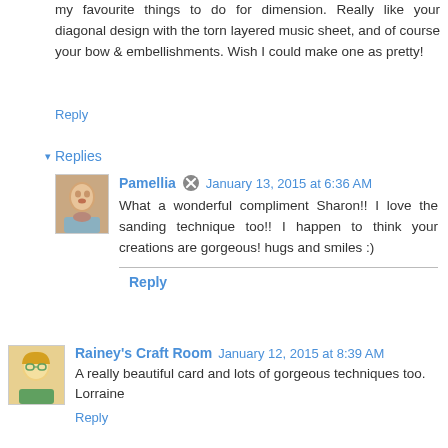my favourite things to do for dimension. Really like your diagonal design with the torn layered music sheet, and of course your bow & embellishments. Wish I could make one as pretty!
Reply
▾ Replies
Pamellia  January 13, 2015 at 6:36 AM
What a wonderful compliment Sharon!! I love the sanding technique too!! I happen to think your creations are gorgeous! hugs and smiles :)
Reply
Rainey's Craft Room  January 12, 2015 at 8:39 AM
A really beautiful card and lots of gorgeous techniques too. Lorraine
Reply